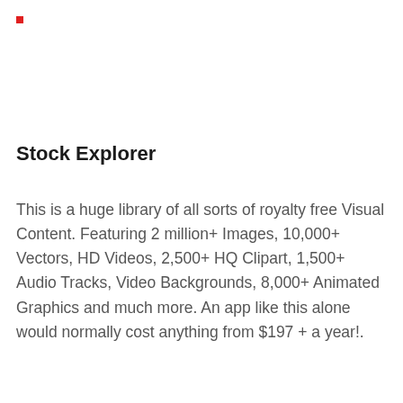[Figure (other): Small red square icon in top-left corner]
Stock Explorer
This is a huge library of all sorts of royalty free Visual Content. Featuring 2 million+ Images, 10,000+ Vectors, HD Videos, 2,500+ HQ Clipart, 1,500+ Audio Tracks, Video Backgrounds, 8,000+ Animated Graphics and much more. An app like this alone would normally cost anything from $197 + a year!.